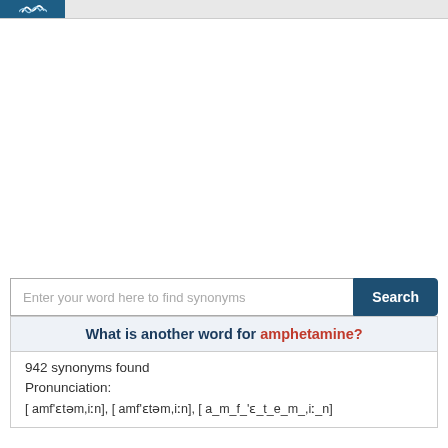Enter your word here to find synonyms
What is another word for amphetamine?
942 synonyms found
Pronunciation:
[ amf'ɛtəm,iːn], [ amf'ɛtəm,iːn], [ a_m_f_'ɛ_t_e_m_,iː_n]